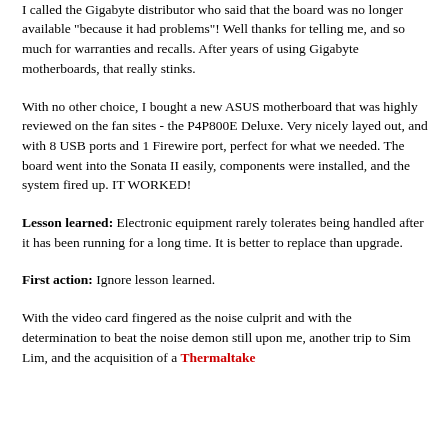the same board was available, but it was not.
I called the Gigabyte distributor who said that the board was no longer available "because it had problems"! Well thanks for telling me, and so much for warranties and recalls. After years of using Gigabyte motherboards, that really stinks.
With no other choice, I bought a new ASUS motherboard that was highly reviewed on the fan sites - the P4P800E Deluxe. Very nicely layed out, and with 8 USB ports and 1 Firewire port, perfect for what we needed. The board went into the Sonata II easily, components were installed, and the system fired up. IT WORKED!
Lesson learned: Electronic equipment rarely tolerates being handled after it has been running for a long time. It is better to replace than upgrade.
First action: Ignore lesson learned.
With the video card fingered as the noise culprit and with the determination to beat the noise demon still upon me, another trip to Sim Lim, and the acquisition of a Thermaltake